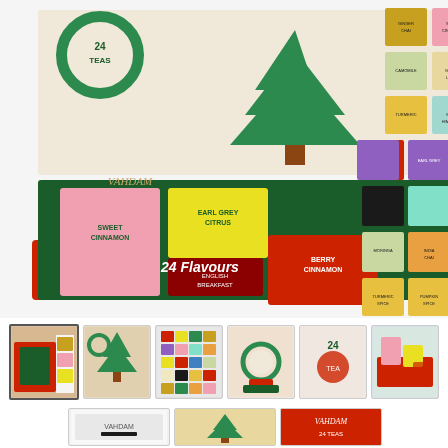[Figure (photo): Product photo of a Vahdam 24 Teas advent calendar gift set showing a red and green box open with tea bags inside including Sweet Cinnamon, Earl Grey Citrus, and Berry Cinnamon flavors, alongside a display of 24 individual tea packet thumbnails arranged in a grid. Text '24 Flavours' visible on box.]
[Figure (photo): Thumbnail gallery row 1: 6 small product images of the Vahdam tea advent calendar gift set from various angles]
[Figure (photo): Thumbnail gallery row 2: 3 small product images of the Vahdam tea advent calendar gift set showing packaging details]